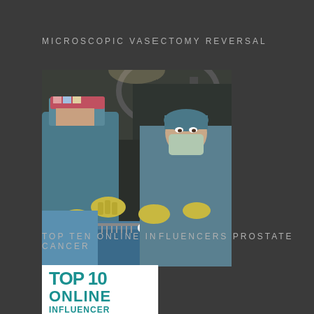MICROSCOPIC VASECTOMY REVERSAL
[Figure (photo): Surgical team performing microscopic vasectomy reversal in an operating room. Two surgeons in blue surgical gowns, masks, gloves and caps are visible, with surgical instruments on a blue-draped table.]
TOP TEN ONLINE INFLUENCERS PROSTATE CANCER
[Figure (photo): Top 10 Online Influencers logo/badge showing teal colored text on white background reading TOP 10 ONLINE INFLUENCER]